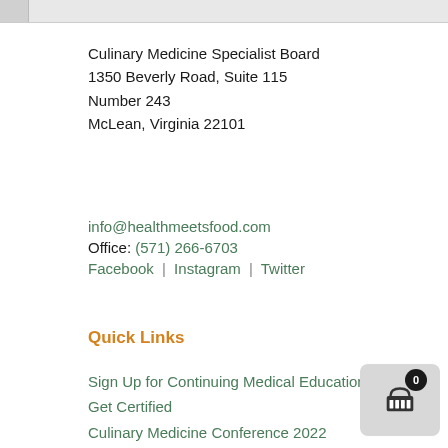Culinary Medicine Specialist Board
1350 Beverly Road, Suite 115
Number 243
McLean, Virginia 22101
info@healthmeetsfood.com
Office: (571) 266-6703
Facebook | Instagram | Twitter
Quick Links
Sign Up for Continuing Medical Education
Get Certified
Culinary Medicine Conference 2022